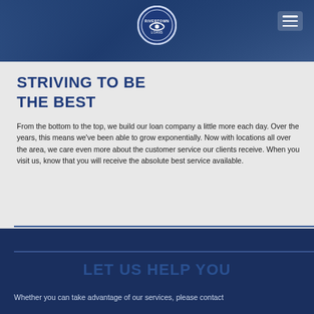[Figure (screenshot): Website header with dark blue overlay, circular logo in center top, hamburger menu icon top right]
STRIVING TO BE THE BEST
From the bottom to the top, we build our loan company a little more each day. Over the years, this means we've been able to grow exponentially. Now with locations all over the area, we care even more about the customer service our clients receive. When you visit us, know that you will receive the absolute best service available.
LET US HELP YOU
Whether you can take advantage of our services, please contact